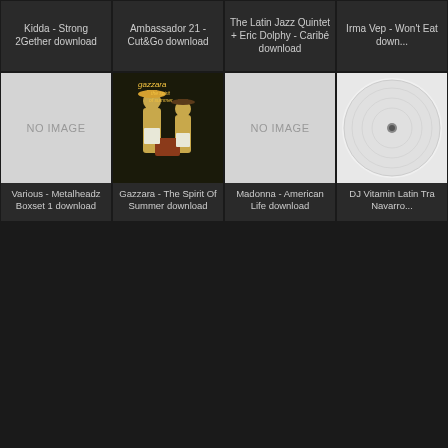Kidda - Strong 2Gether download
Ambassador 21 - Cut&Go download
The Latin Jazz Quintet + Eric Dolphy - Caribé download
Irma Vep - Won't Eat down...
[Figure (photo): No image placeholder - Various Metalheadz Boxset 1]
Various - Metalheadz Boxset 1 download
[Figure (photo): Gazzara - The Spirit Of Summer album cover]
Gazzara - The Spirit Of Summer download
[Figure (photo): No image placeholder - Madonna American Life]
Madonna - American Life download
[Figure (photo): DJ Vitamin Latin Tra Navarro - white vinyl record]
DJ Vitamin Latin Tra Navarro...